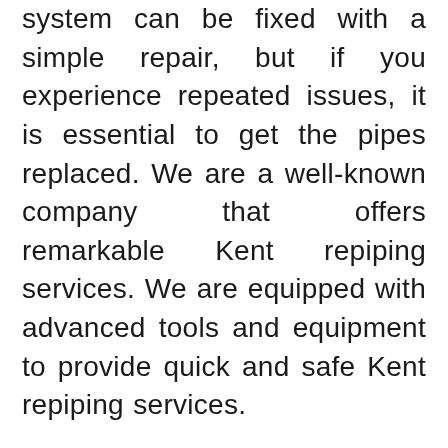system can be fixed with a simple repair, but if you experience repeated issues, it is essential to get the pipes replaced. We are a well-known company that offers remarkable Kent repiping services. We are equipped with advanced tools and equipment to provide quick and safe Kent repiping services.
When you require professional assistance for Kent repiping services, look no further than us. Get in touch with our experts for affordable and effective services, and rest assured about the ultimate quality of the result. Connect with us for the following, and our team will be glad to hear from you: